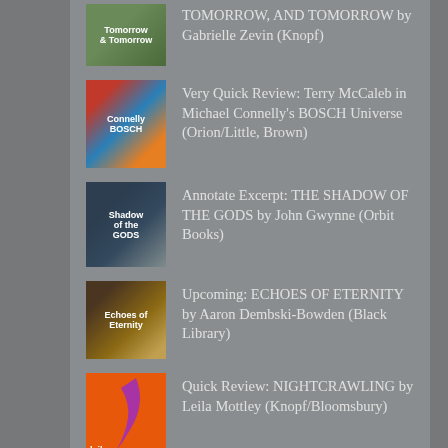TOMORROW, AND TOMORROW by Gabrielle Zevin (Knopf)
Very Quick Review: Terry McCaleb in Michael Connelly's BOSCH Universe (Orion/Little, Brown)
Annotate Excerpt: THE SHADOW OF THE GODS by John Gwynne (Orbit Books)
Upcoming: ECHOES OF ETERNITY by Aaron Dembski-Bowden (Black Library)
Quick Review: NIGHTCRAWLING by Leila Mottley (Knopf/Bloomsbury)
BLOGS I FOLLOW
The Tattooed Book Geek
bookforager